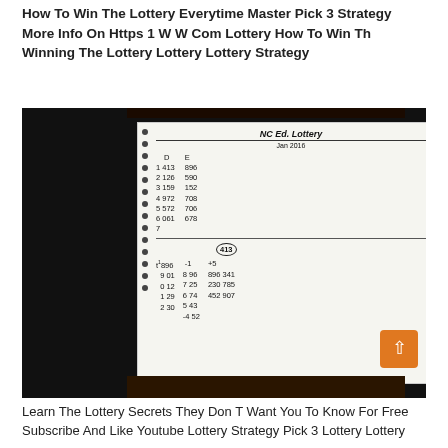How To Win The Lottery Everytime Master Pick 3 Strategy More Info On Https 1 W W Com Lottery How To Win Th Winning The Lottery Lottery Lottery Strategy
[Figure (photo): A photo of handwritten notebook paper showing NC Ed. Lottery calculations for Jan 2016 with columns D and E, numbers like 413, 126, 159, 972, 572, 061 under D and 896, 590, 152, 708, 706, 678 under E. Lower section shows lottery number calculations with t1 896, 9 01, 0 12, 1 29, 2 30 and -1 890, 7 25, 6 74, 5 43, -4 52 and +5 896 341, 230 785, 452 907. A circled number 413 visible.]
Learn The Lottery Secrets They Don T Want You To Know For Free Subscribe And Like Youtube Lottery Strategy Pick 3 Lottery Lottery